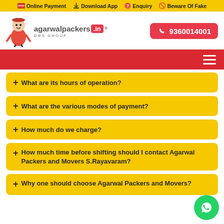Online Payment   Download App   Enquiry   Beware Of Fake
[Figure (logo): Agarwal Packers DRS Group logo with cartoon figure and phone number 9360014001]
What are its hours of operation?
What are the various modes of payment?
How much do we charge?
How much time before shifting should I contact Agarwal Packers and Movers S.Rayavaram?
Why one should choose Agarwal Packers and Movers?